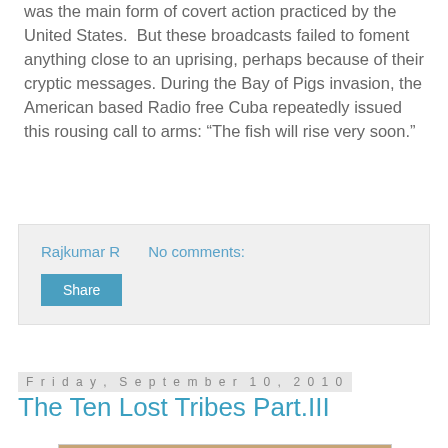was the main form of covert action practiced by the United States. But these broadcasts failed to foment anything close to an uprising, perhaps because of their cryptic messages. During the Bay of Pigs invasion, the American based Radio free Cuba repeatedly issued this rousing call to arms: “The fish will rise very soon.”
Rajkumar R    No comments:
Share
Friday, September 10, 2010
The Ten Lost Tribes Part.III
[Figure (photo): Ancient stone relief carving showing a row of figures in procession, appearing to be Assyrian or similar ancient Near Eastern style. A guard or soldier figure on the left leads several robed figures walking in a line. The relief has cuneiform-style inscriptions at the bottom.]